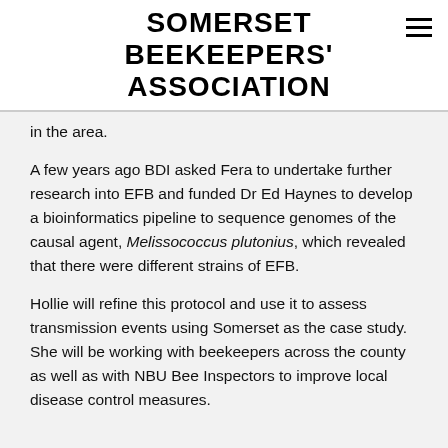SOMERSET BEEKEEPERS' ASSOCIATION
in the area.
A few years ago BDI asked Fera to undertake further research into EFB and funded Dr Ed Haynes to develop a bioinformatics pipeline to sequence genomes of the causal agent, Melissococcus plutonius, which revealed that there were different strains of EFB.
Hollie will refine this protocol and use it to assess transmission events using Somerset as the case study. She will be working with beekeepers across the county as well as with NBU Bee Inspectors to improve local disease control measures.